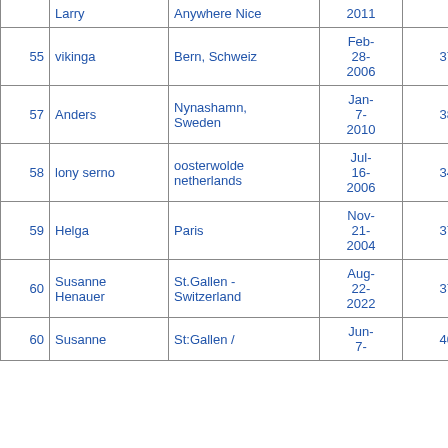| # | Name | Location | Date | Col5 | Col6 |
| --- | --- | --- | --- | --- | --- |
|  | Larry | Anywhere Nice | 2011 |  |  |
| 55 | vikinga | Bern, Schweiz | Feb-28-2006 | 37 | 27 |
| 57 | Anders | Nynashamn, Sweden | Jan-7-2010 | 38 | 656 |
| 58 | lony serno | oosterwolde netherlands | Jul-16-2006 | 34 | 42 |
| 59 | Helga | Paris | Nov-21-2004 | 37 | 8 |
| 60 | Susanne Henauer | St.Gallen - Switzerland | Aug-22-2022 | 37 | 32 |
| 60 | Susanne | St:Gallen / | Jun-7- | 40 | 8 |